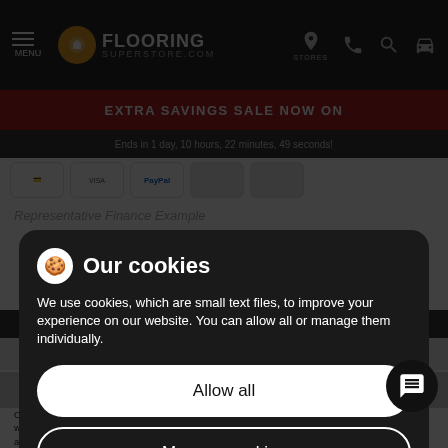FLOORING SUPERSTORE.COM — MENU | STORES
EXTRA SAVINGS SALE NOW ON
Ends in 1 day, 10 hours, 22 minutes, 49 seconds!
Representative Finance Example
| Purchase Amount | Deposit | Monthly payments | Option to purchase | Amount of credit | Total Repay |
| --- | --- | --- | --- | --- | --- |
| £2,310.00 | £0 | £211.25 | £0.00 | £0 | £2,310 |
0% APR Representative
Connection Flooring Ltd. T/A Flooring Superstore is a broker not a lender and works in conjunction with V12 Retail Finance Limited, 20 Neptune Court, Vanguard Way, Cardiff, CF24 5PJ, authorised and regulated by the Financial Conduct Authority. All credit is subject to
[Figure (screenshot): Cookie consent overlay dialog with title 'Our cookies', body text about cookie usage, Allow all button, and Manage cookies button]
Our cookies
We use cookies, which are small text files, to improve your experience on our website. You can allow all or manage them individually.
Allow all
Manage cookies